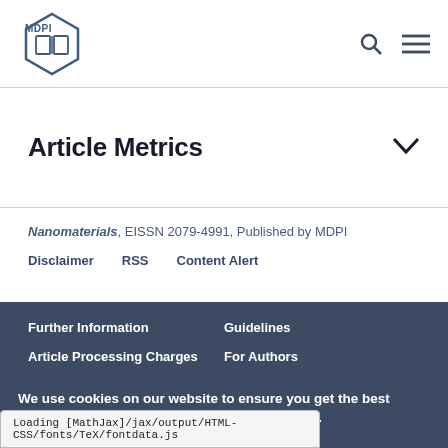MDPI
Article Metrics
Nanomaterials, EISSN 2079-4991, Published by MDPI
Disclaimer  RSS  Content Alert
Further Information
Guidelines
Article Processing Charges
For Authors
We use cookies on our website to ensure you get the best experience. Read more about our cookies here.
Accept
Loading [MathJax]/jax/output/HTML-CSS/fonts/TeX/fontdata.js